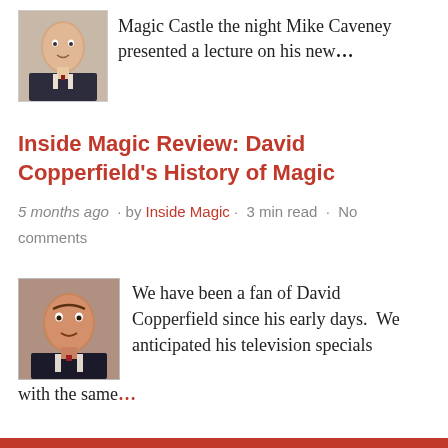Magic Castle the night Mike Caveney presented a lecture on his new...
Inside Magic Review: David Copperfield's History of Magic
5 months ago · by Inside Magic · 3 min read · No comments
We have been a fan of David Copperfield since his early days.  We anticipated his television specials with the same...